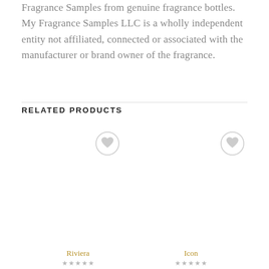Fragrance Samples from genuine fragrance bottles. My Fragrance Samples LLC is a wholly independent entity not affiliated, connected or associated with the manufacturer or brand owner of the fragrance.
RELATED PRODUCTS
[Figure (other): Wishlist heart icon button (circle with heart) for product card 1 (Riviera)]
[Figure (other): Wishlist heart icon button (circle with heart) for product card 2 (Icon)]
Riviera
Icon